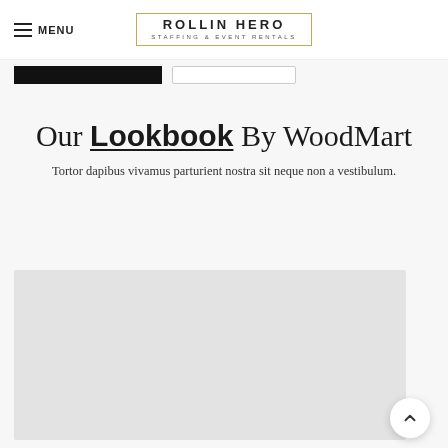MENU | ROLLIN HERO STAFFING & EVENT RENTALS
[Figure (screenshot): Black button and outline button below the navigation header]
Our Lookbook By WoodMart
Tortor dapibus vivamus parturient nostra sit neque non a vestibulum.
[Figure (photo): Large light gray image placeholder area]